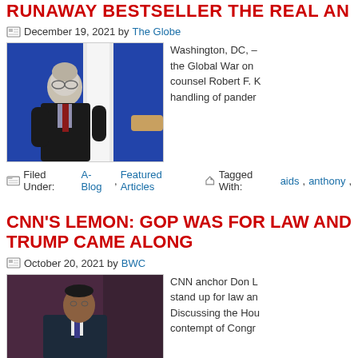RUNAWAY BESTSELLER THE REAL AN...
December 19, 2021 by The Globe
[Figure (photo): Man in dark suit leaning forward against a blue background, appearing to be at a press briefing podium area]
Washington, DC, - the Global War on counsel Robert F. K handling of pander...
Filed Under: A-Blog, Featured Articles  Tagged With: aids, anthony,
CNN'S LEMON: GOP WAS FOR LAW AND TRUMP CAME ALONG
October 20, 2021 by BWC
[Figure (photo): Man in suit against a dark reddish background, appears to be CNN anchor Don Lemon]
CNN anchor Don L stand up for law an Discussing the Hou contempt of Congr...